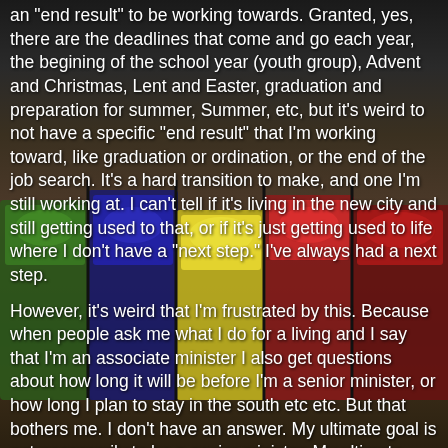[Figure (photo): Background photo of colorful paint pigments or dyes in containers — green, blue, red, yellow, and other colors visible as a tabletop array, dark and richly colored.]
an "end result" to be working towards. Granted, yes, there are the deadlines that come and go each year, the begining of the school year (youth group), Advent and Christmas, Lent and Easter, graduation and preparation for summer, Summer, etc, but it's weird to not have a specific "end result" that I'm working toward, like graduation or ordination, or the end of the job search. It's a hard transition to make, and one I'm still working at. I can't tell if it's living in the new city and still getting used to that, or if it's just getting used to life where I don't have a "next step." I've always had a next step.
However, it's weird that I'm frustrated by this. Because when people ask me what I do for a living and I say that I'm an associate minister I also get questions about how long it will be before I'm a senior minister, or how long I plan to stay in the south etc etc. But that bothers me. I don't have an answer. My ultimate goal is not necessarily to be a senior minister. My ultimate goal is not necessarily to live here for a specific amount of time and then change. I'd like to live in the moment, enjoy what I do and work hard toward my current position, but questions like that make it hard to do. I